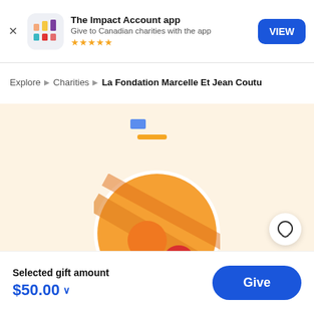[Figure (screenshot): App banner with icon, title 'The Impact Account app', subtitle 'Give to Canadian charities with the app', five gold stars, and a blue VIEW button]
Explore ▶ Charities ▶ La Fondation Marcelle Et Jean Coutu
[Figure (illustration): Charity logo illustration: orange semicircle with diagonal stripes on a warm cream background, with a small blue rectangle and orange bar above]
Selected gift amount
$50.00
Give